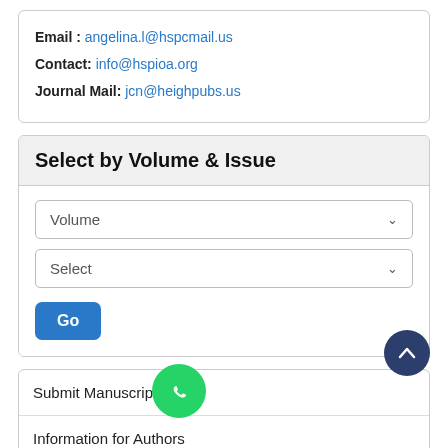Email : angelina.l@hspcmail.us
Contact: info@hspioa.org
Journal Mail: jcn@heighpubs.us
Select by Volume & Issue
Volume
Select
Go
Submit Manuscript
Information for Authors
Advisory Board Rss Feed